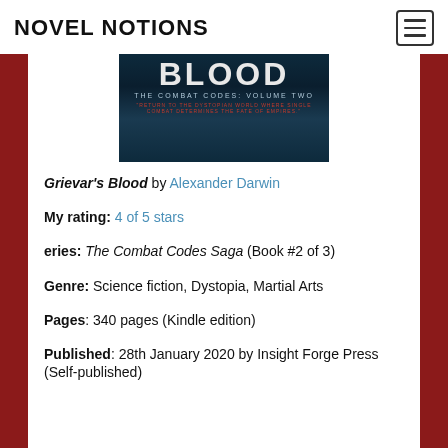NOVEL NOTIONS
[Figure (photo): Book cover of Grievar's Blood - The Combat Codes Volume Two, showing the word BLOOD in large letters with subtitle and tagline on a dark blue background]
Grievar's Blood by Alexander Darwin
My rating: 4 of 5 stars
eries: The Combat Codes Saga (Book #2 of 3)
Genre: Science fiction, Dystopia, Martial Arts
Pages: 340 pages (Kindle edition)
Published: 28th January 2020 by Insight Forge Press (Self-published)